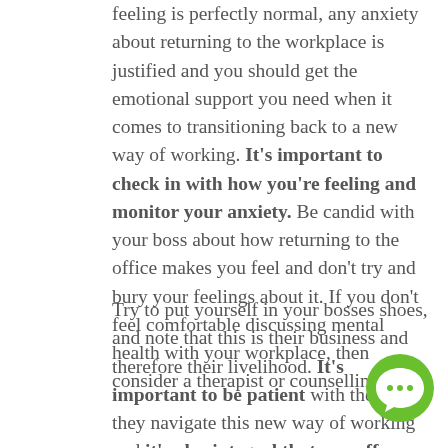feeling is perfectly normal, any anxiety about returning to the workplace is justified and you should get the emotional support you need when it comes to transitioning back to a new way of working. It's important to check in with how you're feeling and monitor your anxiety. Be candid with your boss about how returning to the office makes you feel and don't try and bury your feelings about it. If you don't feel comfortable discussing mental health with your workplace, then consider a therapist or counselling.
Try to put yourself in your bosses shoes, and note that this is their business and therefore their livelihood. It's important to be patient with them as they navigate this new way of working and it's also integral that you offer a degree of flexibility to help things work well. We have already proven that we can adapt to remote working quickly and